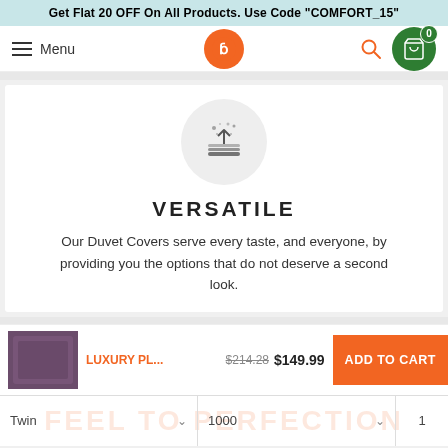Get Flat 20 OFF On All Products. Use Code "COMFORT_15"
[Figure (screenshot): Website navigation bar with hamburger menu, logo, search icon, and cart icon showing 0 items]
[Figure (illustration): Icon of layers/book with sparkles rising from it inside a gray circle]
VERSATILE
Our Duvet Covers serve every taste, and everyone, by providing you the options that do not deserve a second look.
[Figure (photo): Thumbnail of purple/plum luxury duvet cover set]
LUXURY PL... $214.28 $149.99
ADD TO CART
Twin 1000 1
FEEL TO PERFECTION